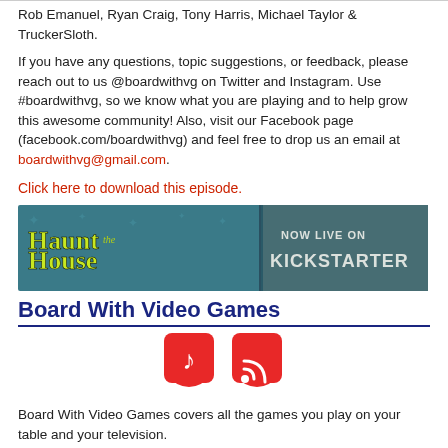Rob Emanuel, Ryan Craig, Tony Harris, Michael Taylor & TruckerSloth.
If you have any questions, topic suggestions, or feedback, please reach out to us @boardwithvg on Twitter and Instagram. Use #boardwithvg, so we know what you are playing and to help grow this awesome community! Also, visit our Facebook page (facebook.com/boardwithvg) and feel free to drop us an email at boardwithvg@gmail.com.
Click here to download this episode.
[Figure (photo): Haunt the House board game advertisement banner - 'Now Live on Kickstarter' with green gothic text logo on left and game scene on right]
Board With Video Games
[Figure (other): Two red shield icons: a music note icon and an RSS feed icon]
Board With Video Games covers all the games you play on your table and your television.
[Figure (photo): Board game image at bottom, partially visible with yellow-green gothic text on dark green background]